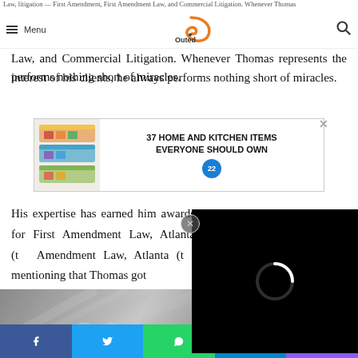Menu | Outed | Search
Law, litigation — First Amendment, First Amendment Law, and Commercial Litigation. Whenever Thomas represents the interest of his clients, he always performs nothing short of miracles.
[Figure (screenshot): Advertisement banner: 37 HOME AND KITCHEN ITEMS EVERYONE SHOULD OWN with food storage bag image and blue badge showing 22]
His expertise has earned him awards for First Amendment Law, Atlanta (th... Amendment Law, Atlanta (th... mentioning that Thomas got ...
[Figure (screenshot): Video player popup showing loading spinner on black background with X close button]
[Figure (screenshot): Bottom image of document/papers with CLOSE bar overlay and orange scroll-up button]
Facebook | Twitter | WhatsApp | Telegram | Phone